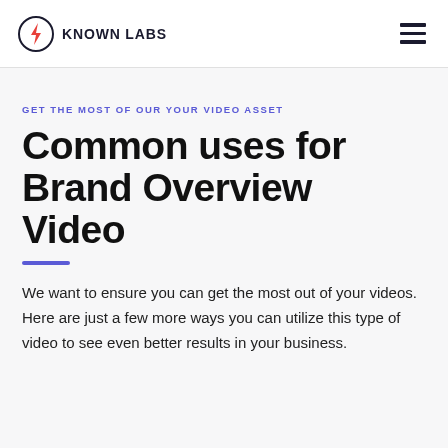KNOWN LABS
GET THE MOST OF OUR YOUR VIDEO ASSET
Common uses for Brand Overview Video
We want to ensure you can get the most out of your videos. Here are just a few more ways you can utilize this type of video to see even better results in your business.